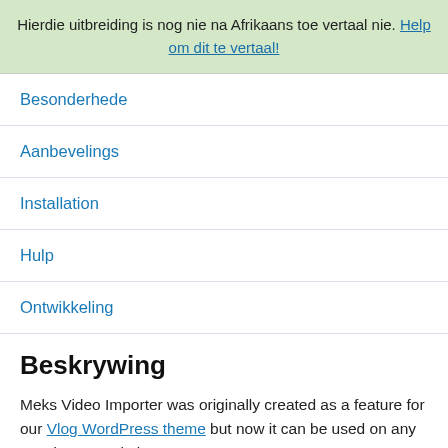Hierdie uitbreiding is nog nie na Afrikaans toe vertaal nie. Help om dit te vertaal!
Besonderhede
Aanbevelings
Installation
Hulp
Ontwikkeling
Beskrywing
Meks Video Importer was originally created as a feature for our Vlog WordPress theme but now it can be used on any WordPress website.
With Meks Video Importer WordPress plugin you